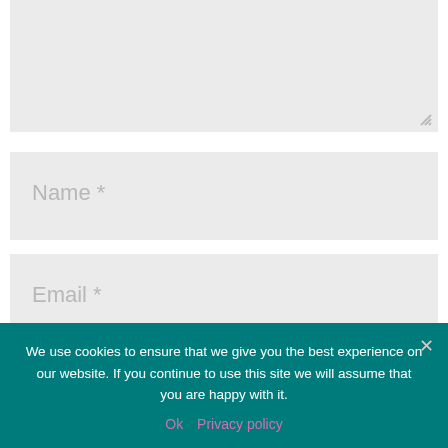[Figure (screenshot): Partial textarea input box with resize handle at bottom right, light gray background]
Name *
Email *
Website
Save my name, email, and website in this browser for the next time I comment.
We use cookies to ensure that we give you the best experience on our website. If you continue to use this site we will assume that you are happy with it.
Ok   Privacy policy